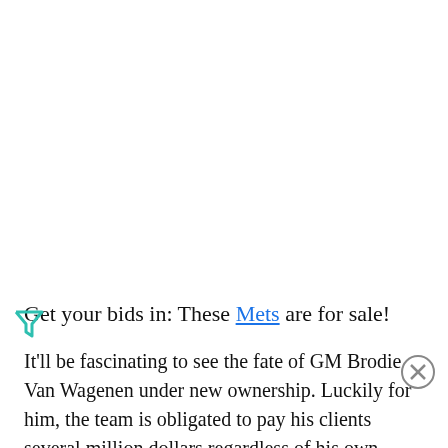Get your bids in: These Mets are for sale!
It'll be fascinating to see the fate of GM Brodie Van Wagenen under new ownership. Luckily for him, the team is obligated to pay his clients several million dollars regardless of his own future. Wild times in New York these days, but their scouting and development teams have done well over the past few cycles, so the system remains solid despite the purge of